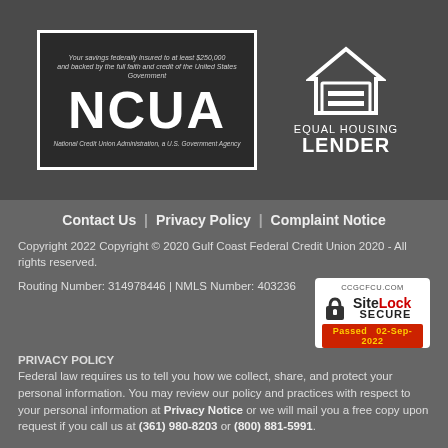[Figure (logo): NCUA logo badge - Your savings federally insured to at least $250,000 and backed by the full faith and credit of the United States Government. National Credit Union Administration, a U.S. Government Agency.]
[Figure (logo): Equal Housing Lender logo - house icon with EQUAL HOUSING LENDER text]
Contact Us | Privacy Policy | Complaint Notice
Copyright 2022 Copyright © 2020 Gulf Coast Federal Credit Union 2020 - All rights reserved.
Routing Number: 314978446 | NMLS Number: 403236
[Figure (other): SiteLock SECURE badge - CCGCFCU.COM, SiteLock SECURE, Passed 02-Sep-2022]
PRIVACY POLICY
Federal law requires us to tell you how we collect, share, and protect your personal information. You may review our policy and practices with respect to your personal information at Privacy Notice or we will mail you a free copy upon request if you call us at (361) 980-8203 or (800) 881-5991.